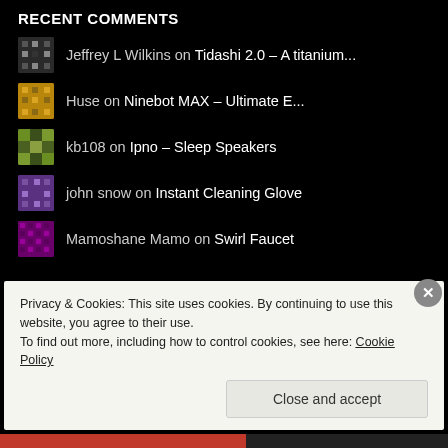RECENT COMMENTS
Jeffrey L Wilkins on Tidashi 2.0 – A titanium...
Huse on Ninebot MAX – Ultimate E...
kb108 on Ipno – Sleep Speakers
john snow on Instant Cleaning Glove
Mamoshane Mamo on Swirl Faucet
FOLLOW BLOG VIA EMAIL
Enter your email address to follow this blog and receive notification
Privacy & Cookies: This site uses cookies. By continuing to use this website, you agree to their use.
To find out more, including how to control cookies, see here: Cookie Policy
Close and accept